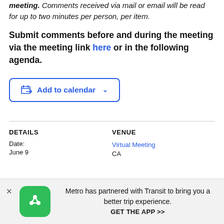meeting. Comments received via mail or email will be read for up to two minutes per person, per item.
Submit comments before and during the meeting via the meeting link here or in the following agenda.
[Figure (other): Add to calendar button with calendar icon and dropdown chevron]
DETAILS
VENUE
Date:
Virtual Meeting
June 9
CA
Metro has partnered with Transit to bring you a better trip experience. GET THE APP >>